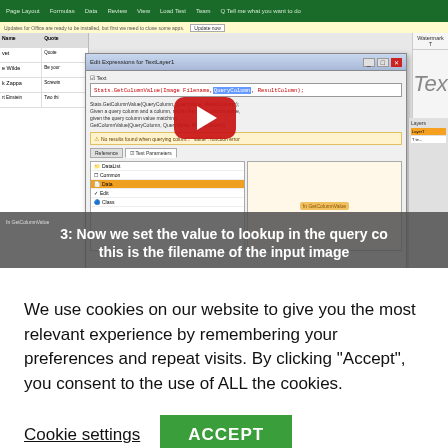[Figure (screenshot): Screenshot of a software tutorial video showing Microsoft Excel with a Profile Editor dialog box open ('Edit Expressions for TextLayer1'), a YouTube play button overlay in the center, and a caption bar at the bottom reading '3: Now we set the value to lookup in the query col... this is the filename of the input image'. The dialog shows code with GetColumnValue function and a warning about no results found.]
We use cookies on our website to give you the most relevant experience by remembering your preferences and repeat visits. By clicking “Accept”, you consent to the use of ALL the cookies.
Cookie settings
ACCEPT